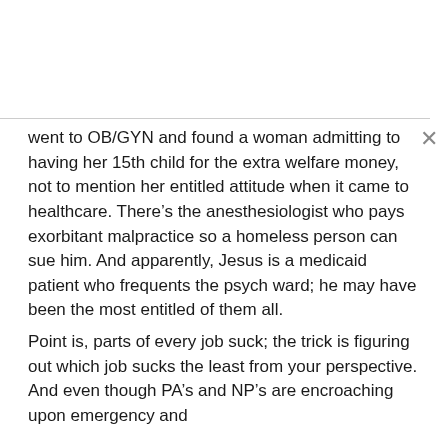went to OB/GYN and found a woman admitting to having her 15th child for the extra welfare money, not to mention her entitled attitude when it came to healthcare. There's the anesthesiologist who pays exorbitant malpractice so a homeless person can sue him. And apparently, Jesus is a medicaid patient who frequents the psych ward; he may have been the most entitled of them all.
Point is, parts of every job suck; the trick is figuring out which job sucks the least from your perspective. And even though PA's and NP's are encroaching upon emergency and